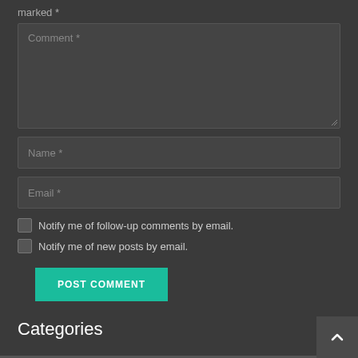marked *
Comment *
Name *
Email *
Notify me of follow-up comments by email.
Notify me of new posts by email.
POST COMMENT
Categories